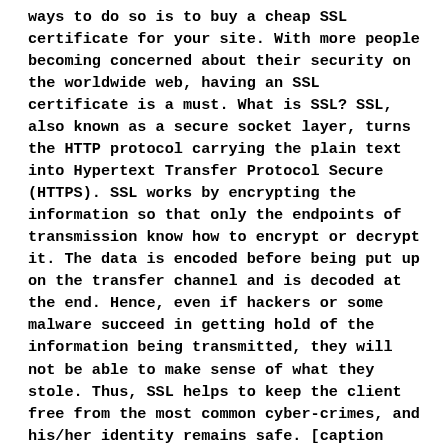ways to do so is to buy a cheap SSL certificate for your site. With more people becoming concerned about their security on the worldwide web, having an SSL certificate is a must. What is SSL? SSL, also known as a secure socket layer, turns the HTTP protocol carrying the plain text into Hypertext Transfer Protocol Secure (HTTPS). SSL works by encrypting the information so that only the endpoints of transmission know how to encrypt or decrypt it. The data is encoded before being put up on the transfer channel and is decoded at the end. Hence, even if hackers or some malware succeed in getting hold of the information being transmitted, they will not be able to make sense of what they stole. Thus, SSL helps to keep the client free from the most common cyber-crimes, and his/her identity remains safe. [caption id="attachment_2674" align="alignnone" width="1024"] What Is SSL[/caption] Role of an SSL certificate SSL certificates act as a shield and combat your client against the attacks that occur during data transfer. To become successful on the internet, the most crucial factor is its safety for...